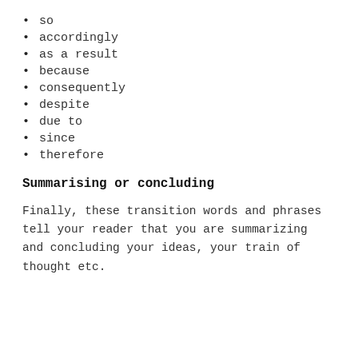so
accordingly
as a result
because
consequently
despite
due to
since
therefore
Summarising or concluding
Finally, these transition words and phrases tell your reader that you are summarizing and concluding your ideas, your train of thought etc.